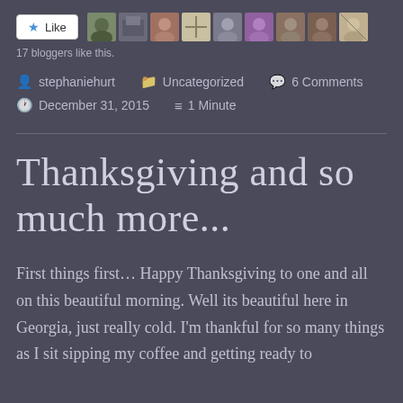[Figure (screenshot): Like button with star icon and a row of blogger avatar thumbnails]
17 bloggers like this.
stephaniehurt   Uncategorized   6 Comments
December 31, 2015   1 Minute
Thanksgiving and so much more...
First things first… Happy Thanksgiving to one and all on this beautiful morning. Well its beautiful here in Georgia, just really cold. I'm thankful for so many things as I sit sipping my coffee and getting ready to